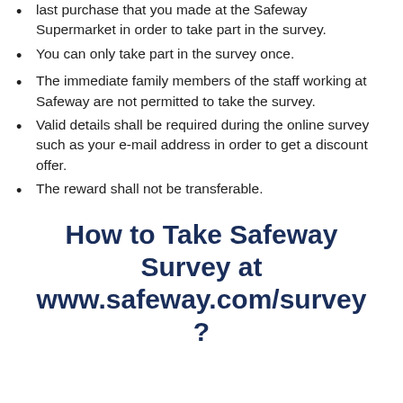last purchase that you made at the Safeway Supermarket in order to take part in the survey.
You can only take part in the survey once.
The immediate family members of the staff working at Safeway are not permitted to take the survey.
Valid details shall be required during the online survey such as your e-mail address in order to get a discount offer.
The reward shall not be transferable.
How to Take Safeway Survey at www.safeway.com/survey?